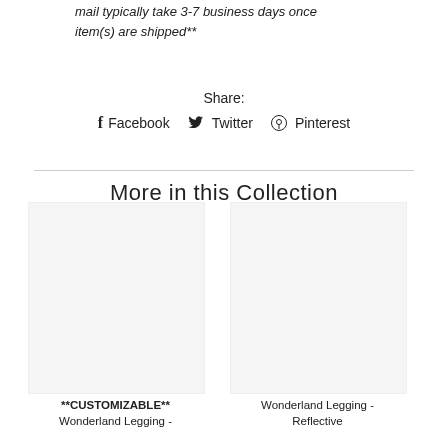mail typically take 3-7 business days once item(s) are shipped**
Share:
f Facebook  Twitter  Pinterest
More in this Collection
**CUSTOMIZABLE** Wonderland Legging -
Wonderland Legging - Reflective